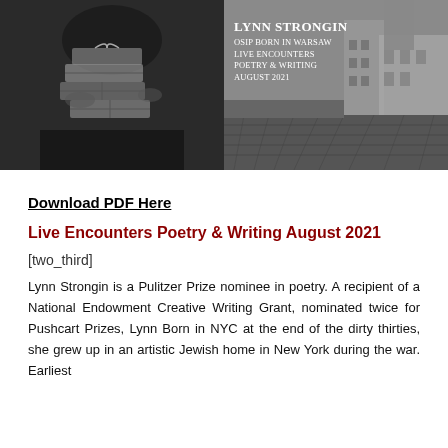[Figure (photo): Black and white cover image split in two: left side shows someone holding stacked decorative gift boxes, right side shows a cobblestone street with historic buildings. Text overlay reads: LYNN STRONGIN / OSIP BORN IN WARSAW / LIVE ENCOUNTERS / POETRY & WRITING / AUGUST 2021]
Download PDF Here
Live Encounters Poetry & Writing August 2021
[two_third]
Lynn Strongin is a Pulitzer Prize nominee in poetry. A recipient of a National Endowment Creative Writing Grant, nominated twice for Pushcart Prizes, Lynn Born in NYC at the end of the dirty thirties, she grew up in an artistic Jewish home in New York during the war. Earliest